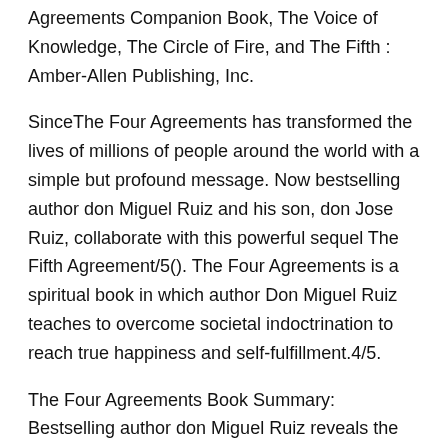Agreements Companion Book, The Voice of Knowledge, The Circle of Fire, and The Fifth : Amber-Allen Publishing, Inc.
SinceThe Four Agreements has transformed the lives of millions of people around the world with a simple but profound message. Now bestselling author don Miguel Ruiz and his son, don Jose Ruiz, collaborate with this powerful sequel The Fifth Agreement/5(). The Four Agreements is a spiritual book in which author Don Miguel Ruiz teaches to overcome societal indoctrination to reach true happiness and self-fulfillment.4/5.
The Four Agreements Book Summary: Bestselling author don Miguel Ruiz reveals the source of self-limiting beliefs that rob us of joy and create needless suffering.
Based on ancient Toltec wisdom, The Four Agreements offer a powerful code of conduct that can rapidly transform our lives to a new experience of freedom, true happiness, and love.
Don Miguel Ruiz, author of The Four Agreements, sits down with Oprah to share his thoughts on the third agreement: Don't make